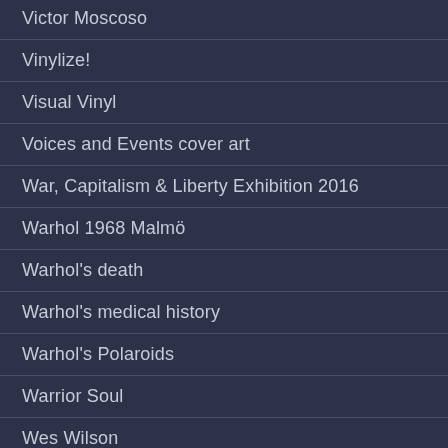Victor Moscoso
Vinylize!
Visual Vinyl
Voices and Events cover art
War, Capitalism & Liberty Exhibition 2016
Warhol 1968 Malmö
Warhol's death
Warhol's medical history
Warhol's Polaroids
Warrior Soul
Wes Wilson
Wolfgang Tillmans vinyl releases
Yoko Ono Lennon